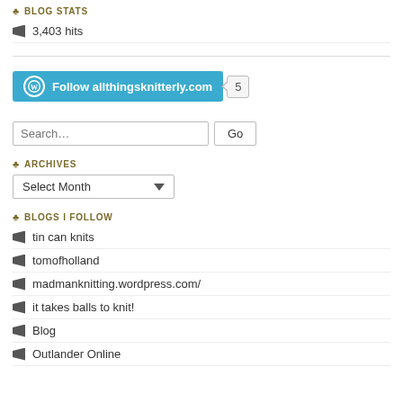BLOG STATS
3,403 hits
[Figure (other): WordPress Follow button for allthingsknitterly.com with follower count badge showing 5]
[Figure (other): Search input box with placeholder 'Search...' and Go button]
ARCHIVES
[Figure (other): Select Month dropdown]
BLOGS I FOLLOW
tin can knits
tomofholland
madmanknitting.wordpress.com/
it takes balls to knit!
Blog
Outlander Online